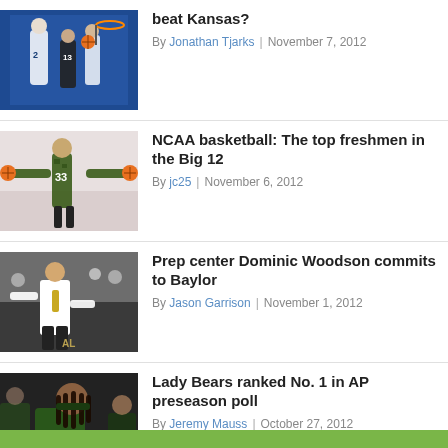[Figure (photo): Basketball game action shot, players in blue and dark uniforms near basket]
beat Kansas?
By Jonathan Tjarks | November 7, 2012
[Figure (photo): Basketball player wearing number 33 in camouflage uniform with arms spread wide]
NCAA basketball: The top freshmen in the Big 12
By jc25 | November 6, 2012
[Figure (photo): Basketball coach in white shirt and gold tie gesturing on sideline]
Prep center Dominic Woodson commits to Baylor
By Jason Garrison | November 1, 2012
[Figure (photo): Female basketball player with dreadlocks in dark green uniform]
Lady Bears ranked No. 1 in AP preseason poll
By Jeremy Mauss | October 27, 2012